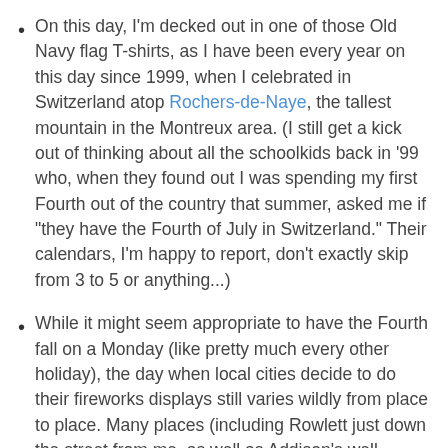On this day, I'm decked out in one of those Old Navy flag T-shirts, as I have been every year on this day since 1999, when I celebrated in Switzerland atop Rochers-de-Naye, the tallest mountain in the Montreux area. (I still get a kick out of thinking about all the schoolkids back in '99 who, when they found out I was spending my first Fourth out of the country that summer, asked me if "they have the Fourth of July in Switzerland." Their calendars, I'm happy to report, don't exactly skip from 3 to 5 or anything...)
While it might seem appropriate to have the Fourth fall on a Monday (like pretty much every other holiday), the day when local cities decide to do their fireworks displays still varies wildly from place to place. Many places (including Rowlett just down the street from me, as well as Addison's well-known "Kaboom Town") were last night, while a lot of other places, including